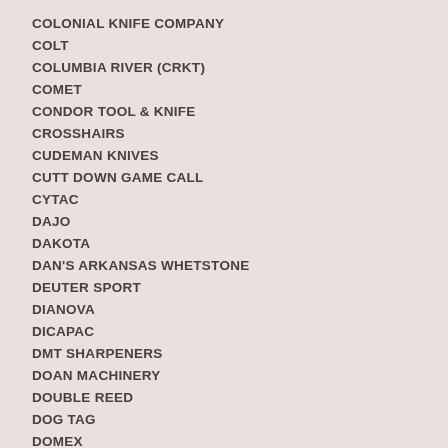COLONIAL KNIFE COMPANY
COLT
COLUMBIA RIVER (CRKT)
COMET
CONDOR TOOL & KNIFE
CROSSHAIRS
CUDEMAN KNIVES
CUTT DOWN GAME CALL
CYTAC
DAJO
DAKOTA
DAN'S ARKANSAS WHETSTONE
DEUTER SPORT
DIANOVA
DICAPAC
DMT SHARPENERS
DOAN MACHINERY
DOUBLE REED
DOG TAG
DOMEX
DOUK-DOUK KNIVES
DOVO SOLINGEN
DOWN UNDER KNIVES